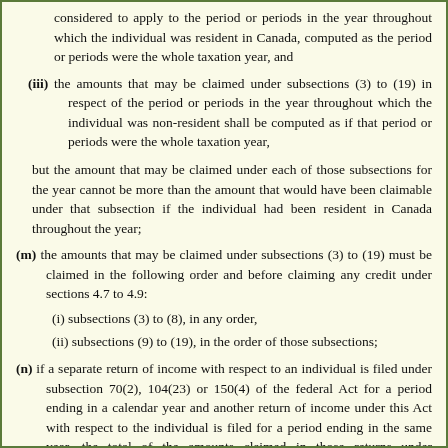considered to apply to the period or periods in the year throughout which the individual was resident in Canada, computed as the period or periods were the whole taxation year, and
(iii) the amounts that may be claimed under subsections (3) to (19) in respect of the period or periods in the year throughout which the individual was non-resident shall be computed as if that period or periods were the whole taxation year,
but the amount that may be claimed under each of those subsections for the year cannot be more than the amount that would have been claimable under that subsection if the individual had been resident in Canada throughout the year;
(m) the amounts that may be claimed under subsections (3) to (19) must be claimed in the following order and before claiming any credit under sections 4.7 to 4.9:
(i) subsections (3) to (8), in any order,
(ii) subsections (9) to (19), in the order of those subsections;
(n) if a separate return of income with respect to an individual is filed under subsection 70(2), 104(23) or 150(4) of the federal Act for a period ending in a calendar year and another return of income under this Act with respect to the individual is filed for a period ending in the same year, the total of the amounts claimed in those returns under subsections (9) to (15) and (17) to (19) cannot exceed the amounts that could have been claimed under those